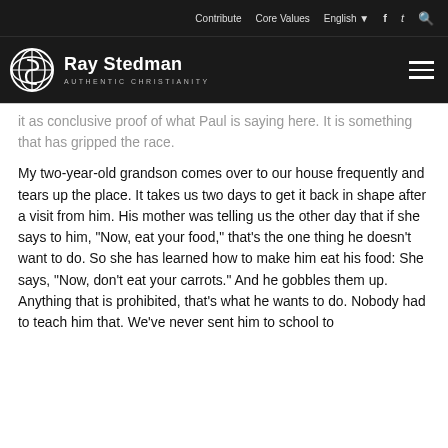Contribute   Core Values   English   [social icons]
[Figure (logo): Ray Stedman Authentic Christianity logo with circular globe icon]
it as conclusive proof of what Paul is saying here. It is something that has gripped the race.
My two-year-old grandson comes over to our house frequently and tears up the place. It takes us two days to get it back in shape after a visit from him. His mother was telling us the other day that if she says to him, "Now, eat your food," that's the one thing he doesn't want to do. So she has learned how to make him eat his food: She says, "Now, don't eat your carrots." And he gobbles them up. Anything that is prohibited, that's what he wants to do. Nobody had to teach him that. We've never sent him to school to